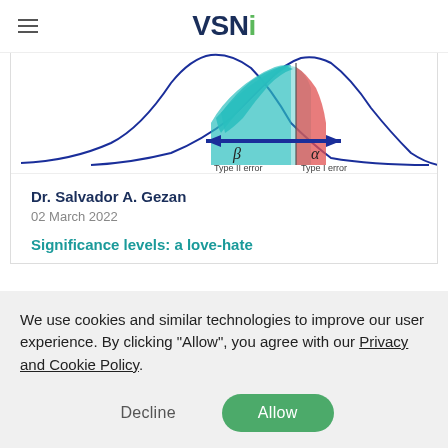VSNi
[Figure (continuous-plot): Statistical diagram showing two overlapping normal distribution curves with shaded areas illustrating Type I error (alpha, red shading on right) and Type II error (beta, teal/green shading on left), with a double-headed blue arrow spanning both regions. Labels: β Type II error, α Type I error.]
Dr. Salvador A. Gezan
02 March 2022
Significance levels: a love-hate
We use cookies and similar technologies to improve our user experience. By clicking "Allow", you agree with our Privacy and Cookie Policy.